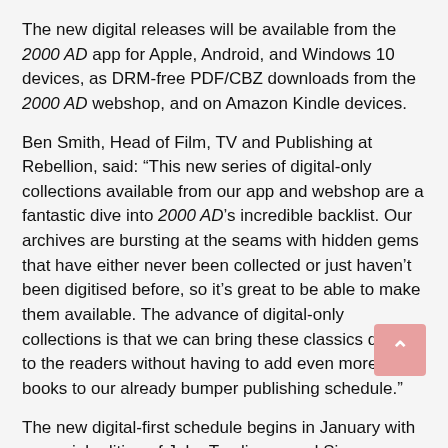The new digital releases will be available from the 2000 AD app for Apple, Android, and Windows 10 devices, as DRM-free PDF/CBZ downloads from the 2000 AD webshop, and on Amazon Kindle devices.
Ben Smith, Head of Film, TV and Publishing at Rebellion, said: “This new series of digital-only collections available from our app and webshop are a fantastic dive into 2000 AD’s incredible backlist. Our archives are bursting at the seams with hidden gems that have either never been collected or just haven't been digitised before, so it’s great to be able to make them available. The advance of digital-only collections is that we can bring these classics direct to the readers without having to add even more books to our already bumper publishing schedule.”
The new digital-first schedule begins in January with a special edition of John Tomlinson and Simon Jacob’s Armoured Gideon, which features never-before-reprinted extra stories ‘No, No, Nanette’ from 2000 AD Prog 722, ‘Starhavon’s Edge’ from the 1990 2000 AD Sci Fi Special and ‘Making Movies’ from the 1992 2000 AD Sci Fi